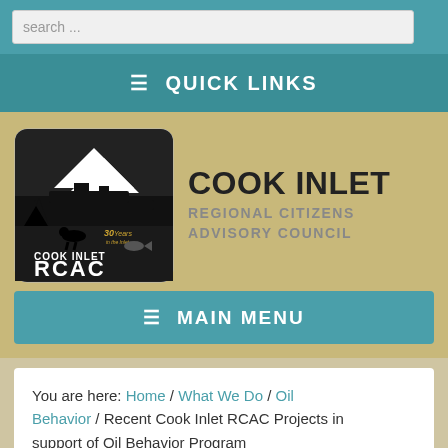search ...
≡ QUICK LINKS
[Figure (logo): Cook Inlet RCAC logo with silhouette of mountains, trees, ship, animals. Text reads COOK INLET, 30 Years in the Inlet, RCAC]
COOK INLET REGIONAL CITIZENS ADVISORY COUNCIL
≡ MAIN MENU
You are here: Home / What We Do / Oil Behavior / Recent Cook Inlet RCAC Projects in support of Oil Behavior Program